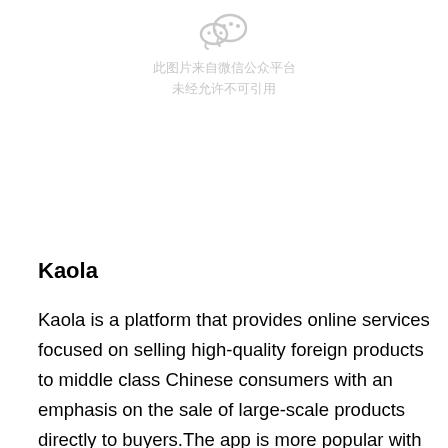[Figure (logo): WeChat/Weixin watermark icon with Chinese text: 此图片来自微信公众平台 未经允许不可引用]
Kaola
Kaola is a platform that provides online services focused on selling high-quality foreign products to middle class Chinese consumers with an emphasis on the sale of large-scale products directly to buyers.The app is more popular with white-collar citizens aged 20-40 products categories and has been growing in the last few years.The platform offers different product categories such as Fashion&Apparel, Jewelry&Accessories, Sports&Outd...